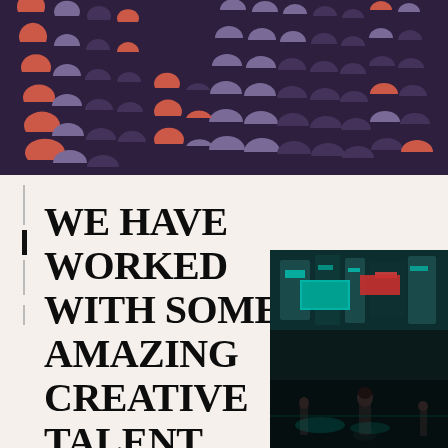[Figure (illustration): Abstract decorative pattern with crescent/arc shapes in coral/red, lavender/purple, and dark purple arranged in rows on a dark purple background.]
WE HAVE WORKED WITH SOME AMAZING CREATIVE TALENT, WHO WE CONTINUE TO
[Figure (photo): A nighttime street scene photo with teal/cyan lighting, showing people and busy urban environment.]